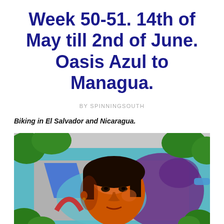Week 50-51. 14th of May till 2nd of June. Oasis Azul to Managua.
BY SPINNINGSOUTH
Biking in El Salvador and Nicaragua.
[Figure (photo): Street mural on a concrete wall depicting a realistic portrait of an indigenous woman with warm orange-red tones on her face, surrounded by abstract colorful shapes in blue, purple, cyan, and red. Green trees and vegetation visible at the edges of the image.]